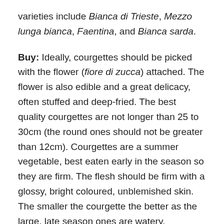varieties include Bianca di Trieste, Mezzo lunga bianca, Faentina, and Bianca sarda.
Buy: Ideally, courgettes should be picked with the flower (fiore di zucca) attached. The flower is also edible and a great delicacy, often stuffed and deep-fried. The best quality courgettes are not longer than 25 to 30cm (the round ones should not be greater than 12cm). Courgettes are a summer vegetable, best eaten early in the season so they are firm. The flesh should be firm with a glossy, bright coloured, unblemished skin. The smaller the courgette the better as the large, late season ones are watery, flavourless, bitter, spongey in texture, and have tough skins and large seeds which need to be removed. For these reasons, don't buy courgettes which weigh